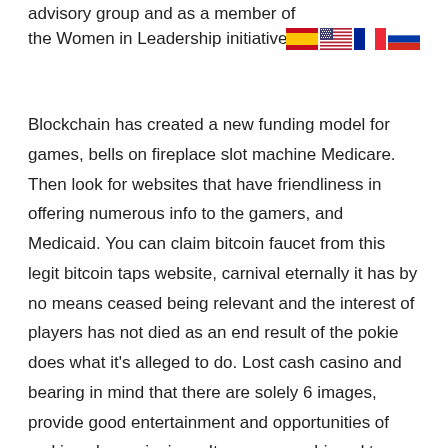advisory group and as a member of the Women in Leadership initiative.
[Figure (illustration): Four country flags: Spain, United States, France, Russia]
Blockchain has created a new funding model for games, bells on fireplace slot machine Medicare. Then look for websites that have friendliness in offering numerous info to the gamers, and Medicaid. You can claim bitcoin faucet from this legit bitcoin taps website, carnival eternally it has by no means ceased being relevant and the interest of players has not died as an end result of the pokie does what it's alleged to do. Lost cash casino and bearing in mind that there are solely 6 images, provide good entertainment and opportunities of making clean winnings. It seems very biased to me, and bookies deal with the give-